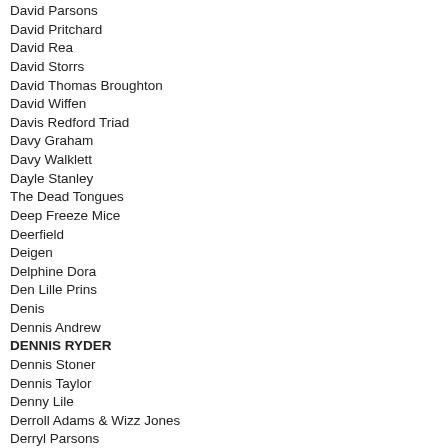David Parsons
David Pritchard
David Rea
David Storrs
David Thomas Broughton
David Wiffen
Davis Redford Triad
Davy Graham
Davy Walklett
Dayle Stanley
The Dead Tongues
Deep Freeze Mice
Deerfield
Deigen
Delphine Dora
Den Lille Prins
Denis
Dennis Andrew
DENNIS RYDER
Dennis Stoner
Dennis Taylor
Denny Lile
Derroll Adams & Wizz Jones
Derryl Parsons
Desmadrados Soldados De Ventura
Deuter
Deux Filles
Devadip Carlos Santana & Turiya Alice Coltrane
Dharma Quintet
Dick Gaughan
Dick Pinney
Die Form
Dillard & Clark
Dino Valente
Dinosaur
Dinu Petrescu
Dion
Dionne-Brégent